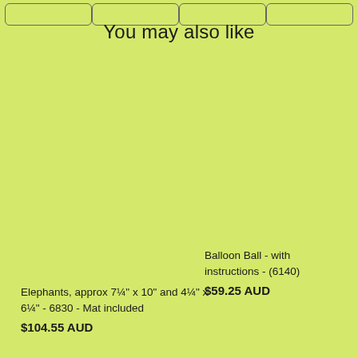You may also like
Elephants, approx 7¼" x 10" and 4¼" x 6¼" - 6830 - Mat included
$104.55 AUD
Balloon Ball - with instructions - (6140)
$59.25 AUD